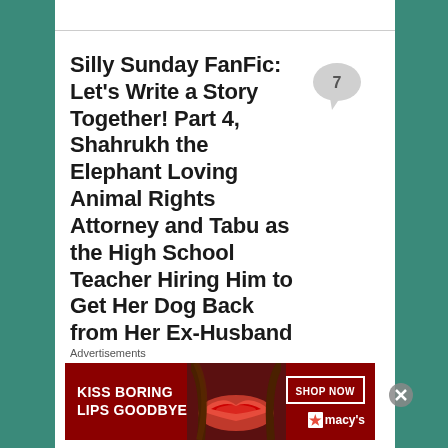Silly Sunday FanFic: Let's Write a Story Together! Part 4, Shahrukh the Elephant Loving Animal Rights Attorney and Tabu as the High School Teacher Hiring Him to Get Her Dog Back from Her Ex-Husband
[Figure (illustration): Speech/comment bubble icon with number 7 inside]
Advertisements
[Figure (photo): Advertisement banner: KISS BORING LIPS GOODBYE - SHOP NOW - macys]